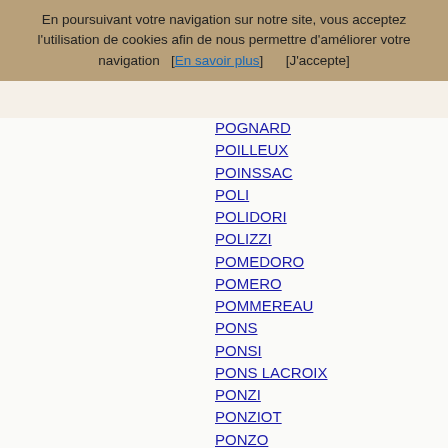En poursuivant votre navigation sur notre site, vous acceptez l'utilisation de cookies afin de nous permettre d'améliorer votre navigation   [En savoir plus]       [J'accepte]
POGNARD
POILLEUX
POINSSAC
POLI
POLIDORI
POLIZZI
POMEDORO
POMERO
POMMEREAU
PONS
PONSI
PONS LACROIX
PONZI
PONZIOT
PONZO
PORCEL
PORCIER
PORRE
PORTA
PORTANELLI
PORTANERI
PORTANERY